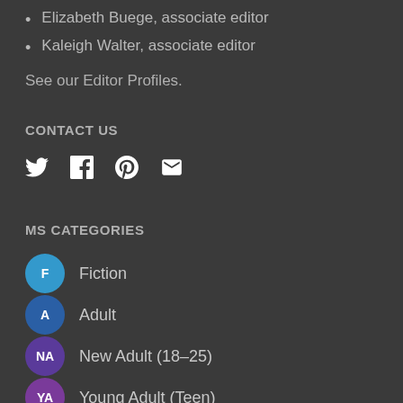Elizabeth Buege, associate editor
Kaleigh Walter, associate editor
See our Editor Profiles.
CONTACT US
[Figure (other): Social media icons: Twitter, Facebook, Pinterest, Email]
MS CATEGORIES
F  Fiction
A  Adult
NA  New Adult (18–25)
YA  Young Adult (Teen)
MG  Middle Grade (8–12)